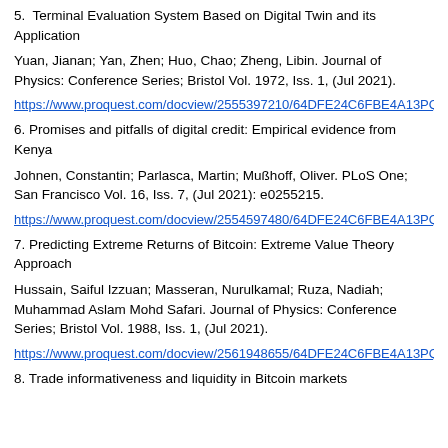5. Terminal Evaluation System Based on Digital Twin and its Application
Yuan, Jianan; Yan, Zhen; Huo, Chao; Zheng, Libin. Journal of Physics: Conference Series; Bristol Vol. 1972, Iss. 1, (Jul 2021).
https://www.proquest.com/docview/2555397210/64DFE24C6FBE4A13PQ/10
6. Promises and pitfalls of digital credit: Empirical evidence from Kenya
Johnen, Constantin; Parlasca, Martin; Mußhoff, Oliver. PLoS One; San Francisco Vol. 16, Iss. 7, (Jul 2021): e0255215.
https://www.proquest.com/docview/2554597480/64DFE24C6FBE4A13PQ/12
7. Predicting Extreme Returns of Bitcoin: Extreme Value Theory Approach
Hussain, Saiful Izzuan; Masseran, Nurulkamal; Ruza, Nadiah; Muhammad Aslam Mohd Safari. Journal of Physics: Conference Series; Bristol Vol. 1988, Iss. 1, (Jul 2021).
https://www.proquest.com/docview/2561948655/64DFE24C6FBE4A13PQ/15
8. Trade informativeness and liquidity in Bitcoin markets